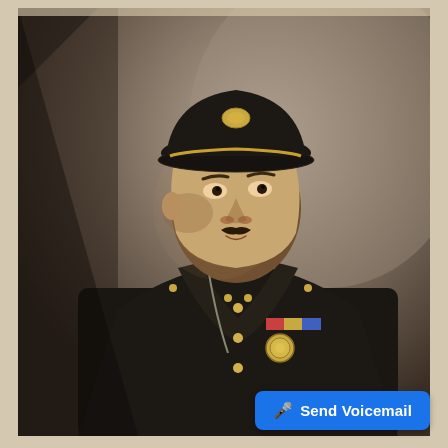[Figure (photo): Vintage black-and-white portrait photograph of a male military officer wearing a dark dress uniform with brass buttons, military cap with insignia, medal ribbons on the chest, and a large medallion/badge. The subject has a mustache and is posed at a slight angle against a studio backdrop.]
🎤 Send Voicemail